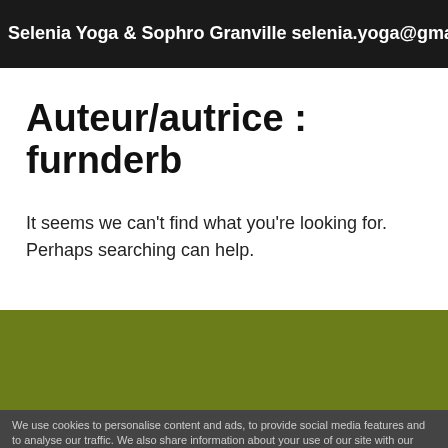Selenia Yoga & Sophro Granville selenia.yoga@gmail.com 07
Auteur/autrice : furnderb
It seems we can't find what you're looking for. Perhaps searching can help.
We use cookies to personalise content and ads, to provide social media features and to analyse our traffic. We also share information about your use of our site with our social media, advertising and analytics partners. View more
Theme by Out the Box | Appeler | Cookies settings | ✓ Accept | Cookies settings